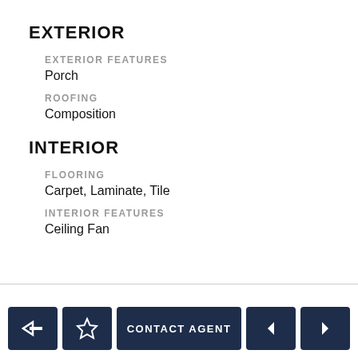EXTERIOR
EXTERIOR FEATURES
Porch
ROOFING
Composition
INTERIOR
FLOORING
Carpet, Laminate, Tile
INTERIOR FEATURES
Ceiling Fan
Navigation bar with back, favorite, CONTACT AGENT, previous, next buttons